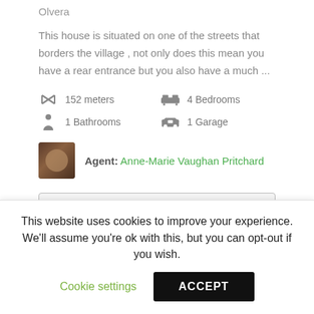Olvera
This house is situated on one of the streets that borders the village , not only does this mean you have a rear entrance but you also have a much ...
152 meters
4 Bedrooms
1 Bathrooms
1 Garage
Agent: Anne-Marie Vaughan Pritchard
View More Details
This website uses cookies to improve your experience. We'll assume you're ok with this, but you can opt-out if you wish.
Cookie settings
ACCEPT